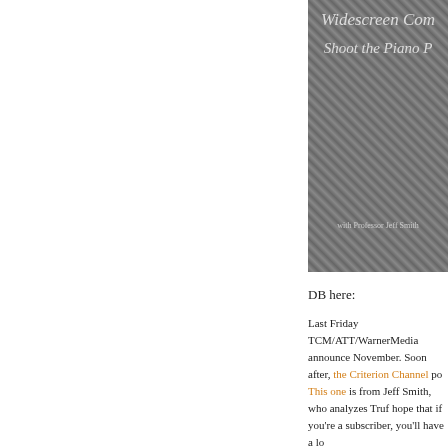[Figure (photo): Black and white textured background image with italic text overlay reading 'Widescreen Cor...' and 'Shoot the Piano P...' with subtitle 'with Professor Jeff Smith']
DB here:
Last Friday TCM/ATT/WarnerMedia announce... November. Soon after, the Criterion Channel po... This one is from Jeff Smith, who analyzes Truf... hope that if you're a subscriber, you'll have a lo...
By good luck, the Channel has also posted an i... Damien filmed the interview during his visit to...